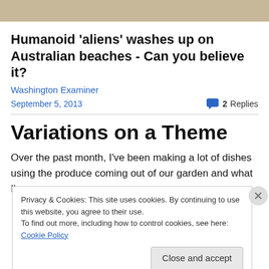[Figure (photo): Faded top image strip, partially visible photo with muted beige/brown tones]
Humanoid 'aliens' washes up on Australian beaches - Can you believe it?
Washington Examiner
September 5, 2013    2 Replies
Variations on a Theme
Over the past month, I've been making a lot of dishes using the produce coming out of our garden and what I've
Privacy & Cookies: This site uses cookies. By continuing to use this website, you agree to their use.
To find out more, including how to control cookies, see here: Cookie Policy